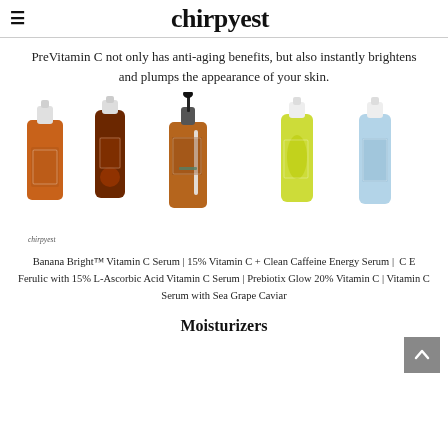chirpyest
PreVitamin C not only has anti-aging benefits, but also instantly brightens and plumps the appearance of your skin.
[Figure (photo): Five vitamin C serum products arranged in a row: Banana Bright Vitamin C Serum (orange bottle), 15% Vitamin C + Clean Caffeine Energy Serum (dark amber bottle), C E Ferulic with 15% L-Ascorbic Acid Vitamin C Serum (dropper bottle), Prebiotix Glow 20% Vitamin C (green bottle), Vitamin C Serum with Sea Grape Caviar (light blue bottle). Chirpyest watermark at bottom left.]
Banana Bright™ Vitamin C Serum | 15% Vitamin C + Clean Caffeine Energy Serum | C E Ferulic with 15% L-Ascorbic Acid Vitamin C Serum | Prebiotix Glow 20% Vitamin C | Vitamin C Serum with Sea Grape Caviar
Moisturizers